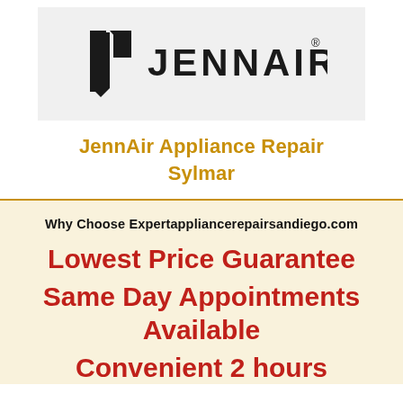[Figure (logo): JennAir brand logo: stylized black geometric 'J' mark followed by 'JENNAIR' in bold sans-serif with registered trademark symbol, on a light gray background]
JennAir Appliance Repair Sylmar
Why Choose Expertappliancerepairsandiego.com
Lowest Price Guarantee
Same Day Appointments Available
Convenient 2 hours